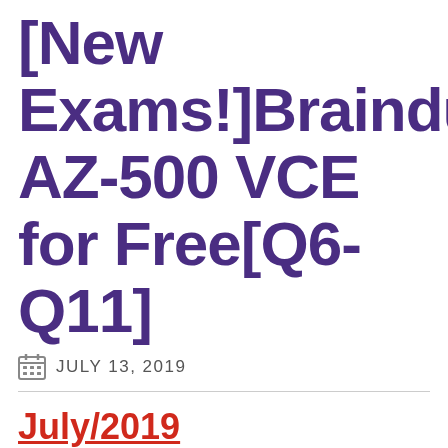[New Exams!]Braindump2go AZ-500 VCE for Free[Q6-Q11]
JULY 13, 2019
July/2019 Braindump2go AZ-500 Exam Dumps with PDF and VCE New Updated Today! Following are